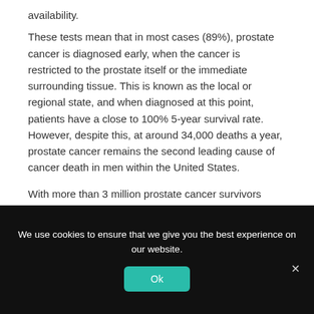availability.
These tests mean that in most cases (89%), prostate cancer is diagnosed early, when the cancer is restricted to the prostate itself or the immediate surrounding tissue. This is known as the local or regional state, and when diagnosed at this point, patients have a close to 100% 5-year survival rate. However, despite this, at around 34,000 deaths a year, prostate cancer remains the second leading cause of cancer death in men within the United States.
With more than 3 million prostate cancer survivors living in the United States today, early diagnosis is key
We use cookies to ensure that we give you the best experience on our website.